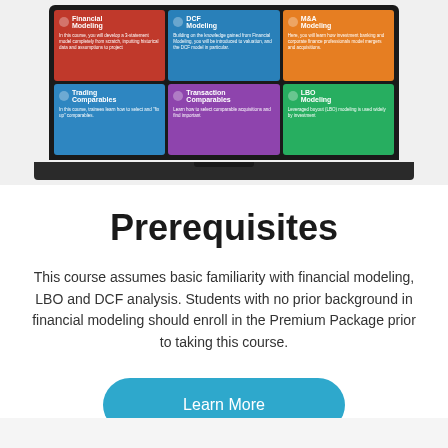[Figure (screenshot): Laptop screen showing a grid of 6 financial modeling course cards: Financial Modeling (red), DCF Modeling (teal/blue), M&A Modeling (orange), Trading Comparables (blue), Transaction Comparables (purple), LBO Modeling (green)]
Prerequisites
This course assumes basic familiarity with financial modeling, LBO and DCF analysis. Students with no prior background in financial modeling should enroll in the Premium Package prior to taking this course.